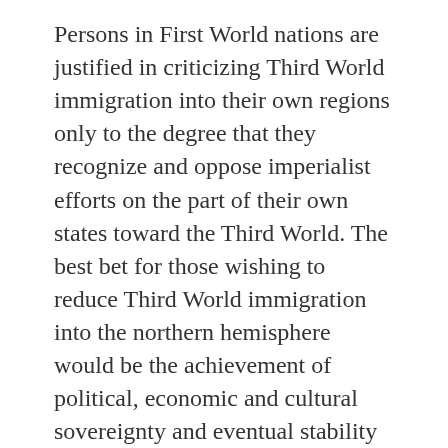Persons in First World nations are justified in criticizing Third World immigration into their own regions only to the degree that they recognize and oppose imperialist efforts on the part of their own states toward the Third World. The best bet for those wishing to reduce Third World immigration into the northern hemisphere would be the achievement of political, economic and cultural sovereignty and eventual stability for the Third World.
It is also necessary to recognize the degree to which the domestic states of the First World encourage immigration into their own territories by means of social, as well as foreign, policy. As most Third World immigrants are poor and uneducated, their increased presence automatically necessitates